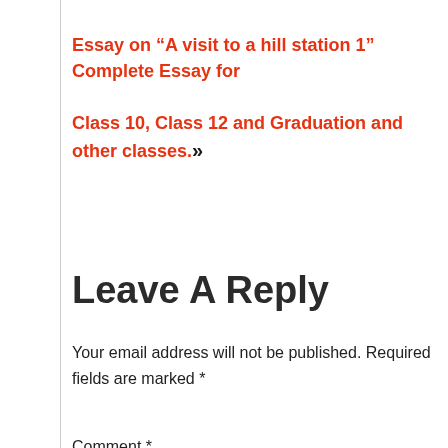Essay on “A visit to a hill station 1” Complete Essay for Class 10, Class 12 and Graduation and other classes.»
Leave A Reply
Your email address will not be published. Required fields are marked *
Comment *